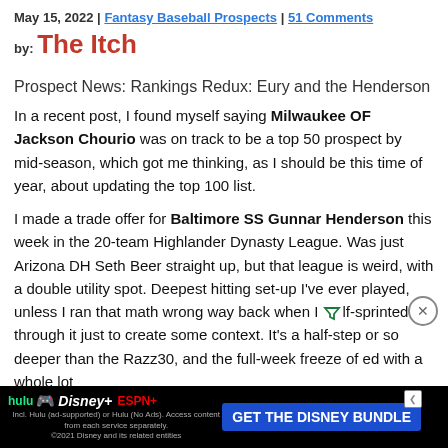May 15, 2022 | Fantasy Baseball Prospects | 51 Comments
by: The Itch
Prospect News: Rankings Redux: Eury and the Henderson
In a recent post, I found myself saying Milwaukee OF Jackson Chourio was on track to be a top 50 prospect by mid-season, which got me thinking, as I should be this time of year, about updating the top 100 list.
I made a trade offer for Baltimore SS Gunnar Henderson this week in the 20-team Highlander Dynasty League. Was just Arizona DH Seth Beer straight up, but that league is weird, with a double utility spot. Deepest hitting set-up I've ever played, unless I ran that math wrong way back when I half-sprinted through it just to create some context. It's a half-step or so deeper than the Razz30, and the full-week freeze of [text cut off] with a whole lot [text cut off]
[Figure (other): Advertisement banner: GET THE DISNEY BUNDLE - Hulu, Disney+, ESPN+]